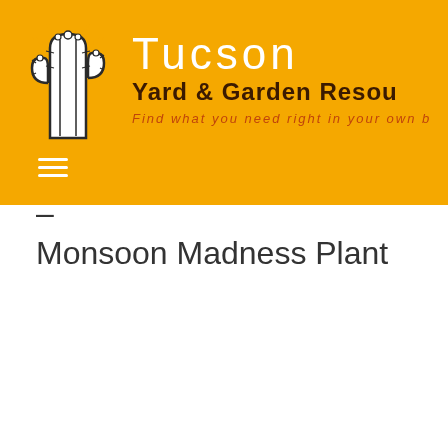[Figure (logo): Tucson Yard & Garden Resource website header with cactus logo, title 'Tucson', subtitle 'Yard & Garden Resou', and tagline 'Find what you need right in your own b']
« All Events
This event has passed.
7am – MEMBERS ONLY – Monsoon Madness Plant